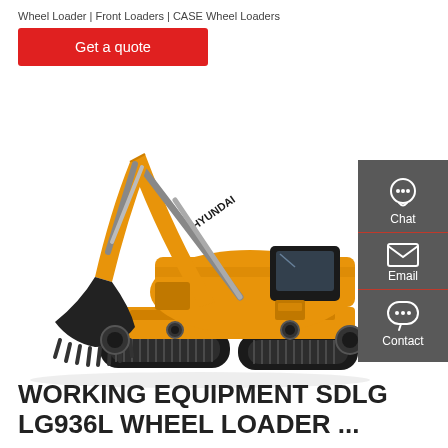Wheel Loader | Front Loaders | CASE Wheel Loaders
Get a quote
[Figure (photo): Hyundai tracked excavator (crawler excavator) in yellow/orange color with HYUNDAI branding on the boom arm, shown on white background]
[Figure (infographic): Dark grey sidebar with Chat (headset icon), Email (envelope icon), and Contact (speech bubble icon) buttons]
WORKING EQUIPMENT SDLG LG936L WHEEL LOADER ...